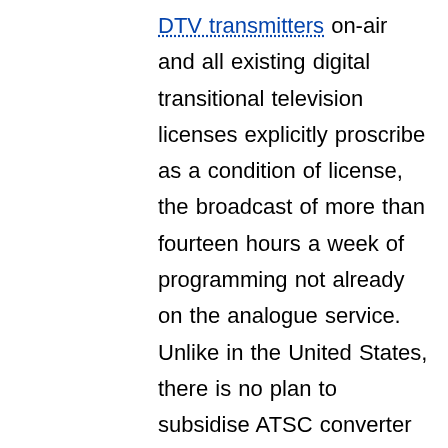DTV transmitters on-air and all existing digital transitional television licenses explicitly proscribe as a condition of license, the broadcast of more than fourteen hours a week of programming not already on the analogue service. Unlike in the United States, there is no plan to subsidise ATSC converter purchases and no requirement that newly-imported receivers decode the digital signal. Canadian retailers are also not required to disclose the inability of new equipment to receive DTV. The Canadian market therefore has been flooded with obsolete new NTSC equipment which lawfully cannot be exported to the US. A limited number of ATSC receivers are in Canadian retail stores as high-definition television (HDTV) receivers. ATSC CECB converter boxes were first carried nationally in October 2008, with chains such as Best Buy and